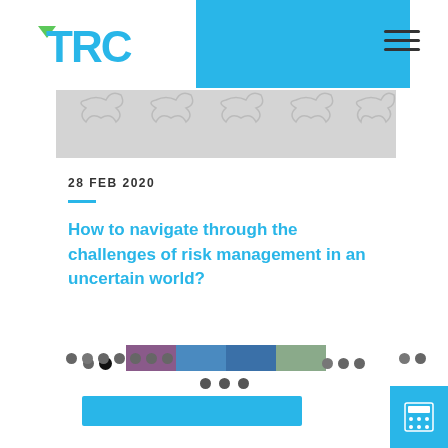TRC logo and navigation header
[Figure (photo): Puzzle pieces background image strip, light grey/white interlocking puzzle texture]
28 FEB 2020
How to navigate through the challenges of risk management in an uncertain world?
[Figure (photo): Carousel image strip showing various article thumbnails with navigation dots]
[Figure (other): Calculator icon button in cyan/blue square at bottom right]